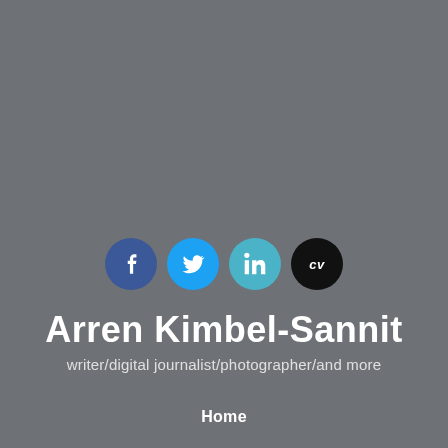[Figure (illustration): Four circular social/contact icons in a row: Facebook (dark blue), Twitter (light blue), LinkedIn (teal/cyan), CV (black)]
Arren Kimbel-Sannit
writer/digital journalist/photographer/and more
Home